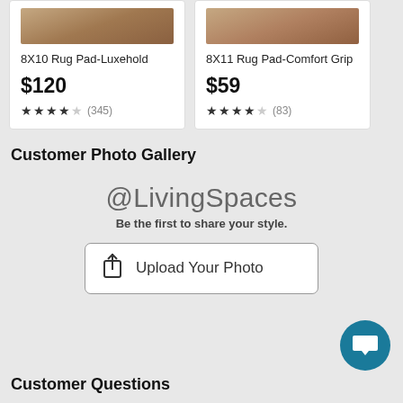8X10 Rug Pad-Luxehold
$120
★★★★½ (345)
8X11 Rug Pad-Comfort Grip
$59
★★★★½ (83)
Customer Photo Gallery
@LivingSpaces
Be the first to share your style.
Upload Your Photo
Customer Questions